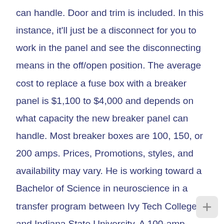can handle. Door and trim is included. In this instance, it'll just be a disconnect for you to work in the panel and see the disconnecting means in the off/open position. The average cost to replace a fuse box with a breaker panel is $1,100 to $4,000 and depends on what capacity the new breaker panel can handle. Most breaker boxes are 100, 150, or 200 amps. Prices, Promotions, styles, and availability may vary. He is working toward a Bachelor of Science in neuroscience in a transfer program between Ivy Tech College and Indiana State University. A 100-amp breaker box may be sufficient for households with minimal use of electricity, but most modern homes require 200 amps. Test the main connection into the breaker box with the